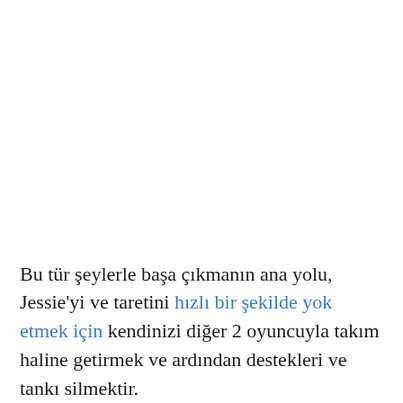Bu tür şeylerle başa çıkmanın ana yolu, Jessie'yi ve taretini hızlı bir şekilde yok etmek için kendinizi diğer 2 oyuncuyla takım haline getirmek ve ardından destekleri ve tankı silmektir.